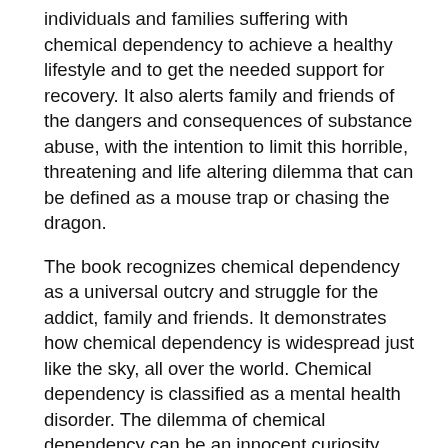individuals and families suffering with chemical dependency to achieve a healthy lifestyle and to get the needed support for recovery. It also alerts family and friends of the dangers and consequences of substance abuse, with the intention to limit this horrible, threatening and life altering dilemma that can be defined as a mouse trap or chasing the dragon.
The book recognizes chemical dependency as a universal outcry and struggle for the addict, family and friends. It demonstrates how chemical dependency is widespread just like the sky, all over the world. Chemical dependency is classified as a mental health disorder. The dilemma of chemical dependency can be an innocent curiosity leading to disaster as it is like a sharp piercing blade that stabs the mind/brain.
Alarming fact, chemical dependency can begin at youth. Chemical dependency is not reserved for the young or old. It can start at any age. When chemical dependency sets in, it takes over the body and mind.